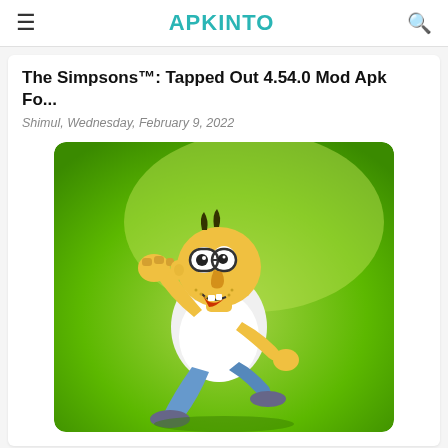APKINTO
The Simpsons™: Tapped Out 4.54.0 Mod Apk Fo...
Shimul, Wednesday, February 9, 2022
[Figure (illustration): Homer Simpson character running on a green background, wearing white t-shirt and blue pants]